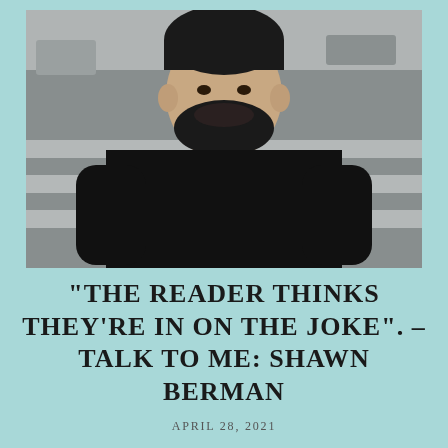[Figure (photo): Portrait photo of a bearded man in a black long-sleeve shirt standing on a street crosswalk, photographed from the waist up.]
“The reader thinks they’re in on the joke”. – Talk to Me: Shawn Berman
April 28, 2021